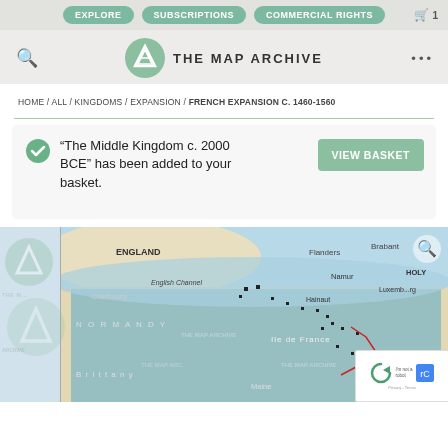EXPLORE | SUBSCRIPTIONS | COMMERCIAL RIGHTS
[Figure (logo): The Map Archive logo with mountain symbol and text THE MAP ARCHIVE]
HOME / ALL / KINGDOMS / EXPANSION / FRENCH EXPANSION C. 1460-1560
“The Middle Kingdom c. 2000 BCE” has been added to your basket.
VIEW BASKET
[Figure (map): Historical map showing French Expansion c. 1460-1560, with England, Flanders, Brabant, Namur, Luxembourg, Holy (Roman Empire), Normandy, Ile de France, Brittany, Maine labeled. Map has The Map Archive watermark overlays. Blue shading shows French territory. A magnifying glass icon and reCAPTCHA widget visible.]